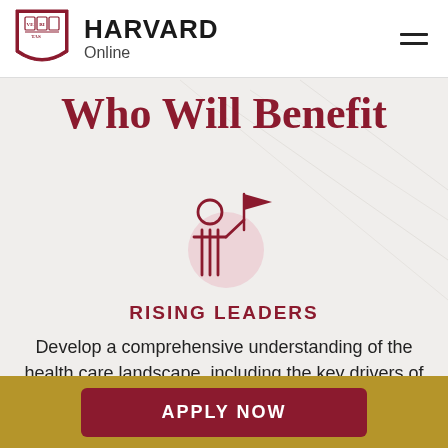[Figure (logo): Harvard Online logo with shield and text]
Who Will Benefit
[Figure (illustration): Icon of a person holding a flag, representing Rising Leaders, with a light pink circular backdrop]
RISING LEADERS
Develop a comprehensive understanding of the health care landscape, including the key drivers of rising US health care spending.
APPLY NOW